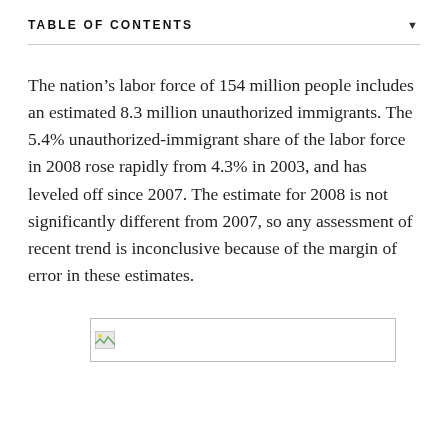TABLE OF CONTENTS
The nation’s labor force of 154 million people includes an estimated 8.3 million unauthorized immigrants. The 5.4% unauthorized-immigrant share of the labor force in 2008 rose rapidly from 4.3% in 2003, and has leveled off since 2007. The estimate for 2008 is not significantly different from 2007, so any assessment of recent trend is inconclusive because of the margin of error in these estimates.
[Figure (other): Broken/missing image placeholder (a figure that failed to load)]